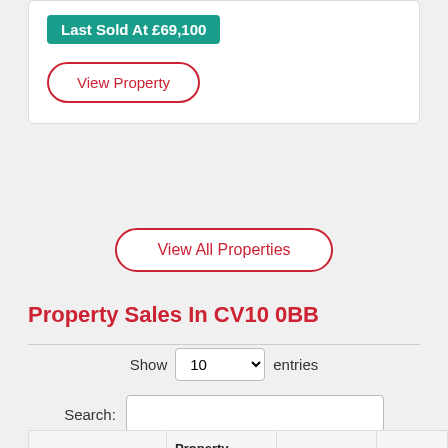Last Sold At £69,100
View Property
View All Properties
Property Sales In CV10 0BB
Show 10 entries
Search:
| Address | Property Type | Price | Date |
| --- | --- | --- | --- |
|  |  |  |  |